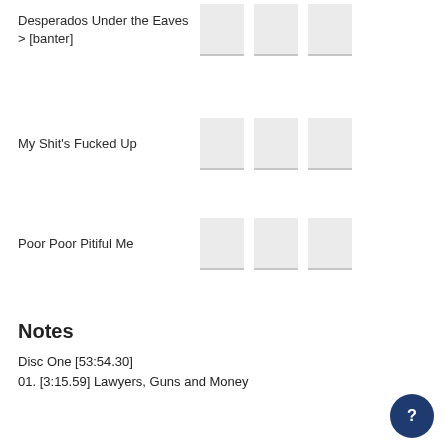Desperados Under the Eaves > [banter]
My Shit's Fucked Up
Poor Poor Pitiful Me
Play It All Night Long
For My Next Trick I'll Need a Volunteer
Werewolves of London
Notes
Disc One [53:54.30]
01. [3:15.59] Lawyers, Guns and Money